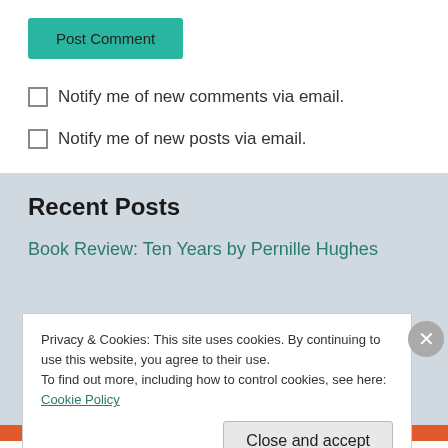Post Comment
Notify me of new comments via email.
Notify me of new posts via email.
Recent Posts
Book Review: Ten Years by Pernille Hughes
Privacy & Cookies: This site uses cookies. By continuing to use this website, you agree to their use.
To find out more, including how to control cookies, see here: Cookie Policy
Close and accept